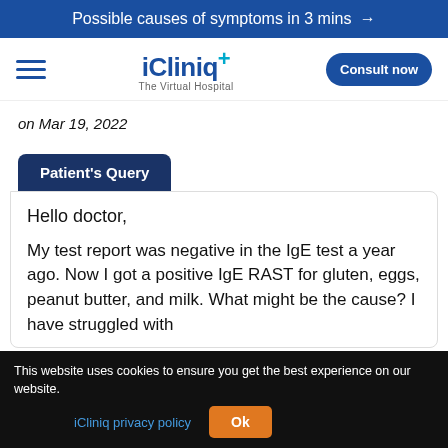Possible causes of symptoms in 3 mins →
[Figure (logo): iCliniq+ The Virtual Hospital logo with hamburger menu and Consult now button]
on Mar 19, 2022
Patient's Query
Hello doctor,

My test report was negative in the IgE test a year ago. Now I got a positive IgE RAST for gluten, eggs, peanut butter, and milk. What might be the cause? I have struggled with
This website uses cookies to ensure you get the best experience on our website.
iCliniq privacy policy
Ok